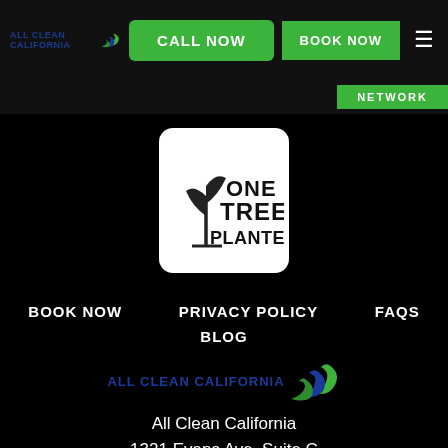[Figure (logo): All Clean California logo with blue text and green swirl in header]
CALL NOW
BOOK NOW
NETWORK
[Figure (logo): One Tree Planted logo - white rounded rectangle with tree seedling icon and text ONE TREE PLANTED]
BOOK NOW   PRIVACY POLICY   FAQS
BLOG
[Figure (logo): All Clean California logo with blue text and green swirl]
All Clean California
1321 Evans Ave, Suite C
San Francisco 94124
415-416-0036